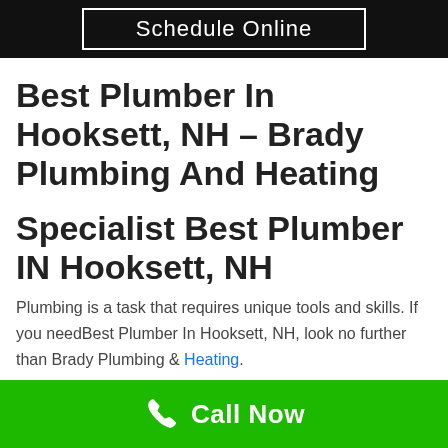Schedule Online
Best Plumber In Hooksett, NH – Brady Plumbing And Heating
Specialist Best Plumber IN Hooksett, NH
Plumbing is a task that requires unique tools and skills. If you needBest Plumber In Hooksett, NH, look no further than Brady Plumbing & Heating.
Call Now